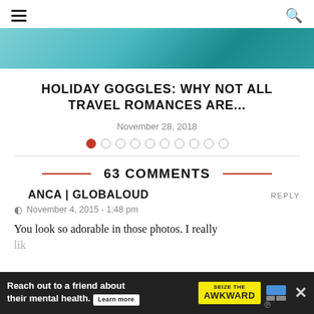Navigation header with hamburger menu and search icon
[Figure (photo): Partial hero image with teal/blue-green gradient water or material background]
HOLIDAY GOGGLES: WHY NOT ALL TRAVEL ROMANCES ARE...
November 28, 2018
[Figure (other): Carousel dot navigation: 10 dots, first dot filled red, rest empty circles]
63 COMMENTS
ANCA | GLOBALOUD
November 4, 2015 - 1:48 pm
You look so adorable in those photos. I really like
[Figure (other): Advertisement banner: Reach out to a friend about their mental health. Learn more. SEIZE THE AWKWARD.]